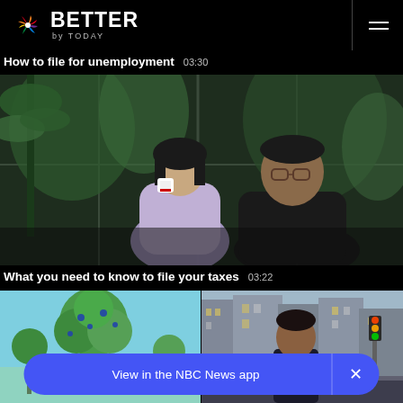BETTER by TODAY
How to file for unemployment  03:30
[Figure (photo): Two people sitting together in a cafe with plants in background, woman drinking from a white cup, man looking at a phone]
What you need to know to file your taxes  03:22
[Figure (photo): Two side-by-side video thumbnails: left shows animated green plants on light blue background; right shows a man on a city street with tall buildings]
View in the NBC News app